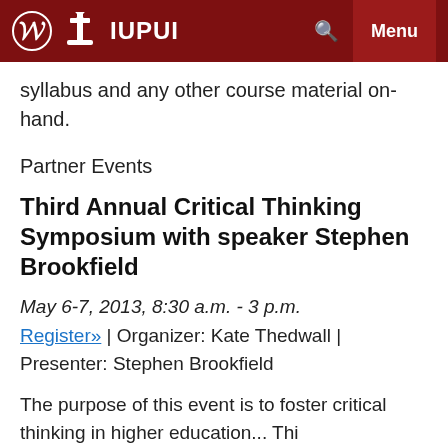IUPUI
syllabus and any other course material on-hand.
Partner Events
Third Annual Critical Thinking Symposium with speaker Stephen Brookfield
May 6-7, 2013, 8:30 a.m. - 3 p.m.
Register» | Organizer: Kate Thedwall | Presenter: Stephen Brookfield
The purpose of this event is to foster critical thinking in higher education... Thi